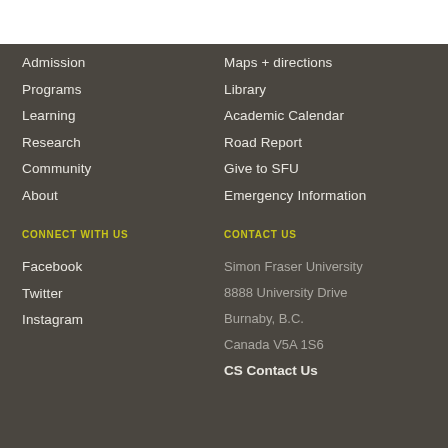Admission
Programs
Learning
Research
Community
About
Maps + directions
Library
Academic Calendar
Road Report
Give to SFU
Emergency Information
CONNECT WITH US
CONTACT US
Facebook
Twitter
Instagram
Simon Fraser University
8888 University Drive
Burnaby, B.C.
Canada V5A 1S6
CS Contact Us